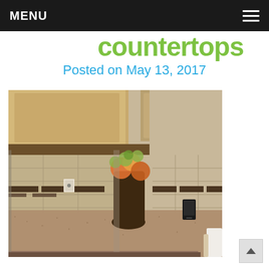MENU
countertops
Posted on May 13, 2017
[Figure (photo): Kitchen countertop photo showing a beige/brown speckled countertop against a tiled backsplash with dark accent tiles. Upper cabinets visible at top, a floral arrangement in a dark vase on the counter, and what appears to be a small device (phone/speaker). A white chair is partially visible at the right edge.]